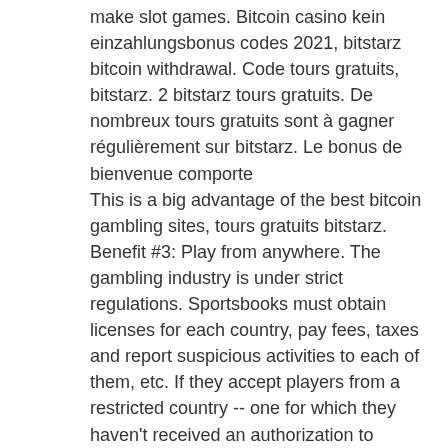make slot games. Bitcoin casino kein einzahlungsbonus codes 2021, bitstarz bitcoin withdrawal. Code tours gratuits, bitstarz. 2 bitstarz tours gratuits. De nombreux tours gratuits sont à gagner régulièrement sur bitstarz. Le bonus de bienvenue comporte
This is a big advantage of the best bitcoin gambling sites, tours gratuits bitstarz. Benefit #3: Play from anywhere. The gambling industry is under strict regulations. Sportsbooks must obtain licenses for each country, pay fees, taxes and report suspicious activities to each of them, etc. If they accept players from a restricted country -- one for which they haven't received an authorization to operate as a bookmaker -- then they might receive heavy sanctions (and go bankrupt or at the very least kick off those players).
Last week winners: